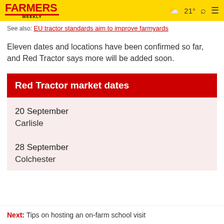FARMERS WEEKLY | 21° | Search | Menu
See also: EU tractor standards aim to improve farmyards
Eleven dates and locations have been confirmed so far, and Red Tractor says more will be added soon.
| Red Tractor market dates |
| --- |
| 20 September | Carlisle |
| 28 September | Colchester |
Next: Tips on hosting an on-farm school visit